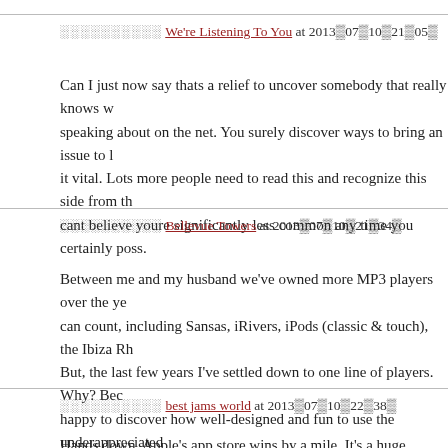░░░░░░░░░░ We're Listening To You at 2013▒07▒10▒21▒05▒
Can I just now say thats a relief to uncover somebody that really knows w speaking about on the net. You surely discover ways to bring an issue to l it vital. Lots more people need to read this and recognize this side from th cant believe youre significantly less common any time you certainly poss.
░░░░░░░░░░ Bellevue Towers at 2013▒07▒10▒21▒34▒
Between me and my husband we've owned more MP3 players over the ye can count, including Sansas, iRivers, iPods (classic & touch), the Ibiza Rh But, the last few years I've settled down to one line of players. Why? Bec happy to discover how well-designed and fun to use the underappreciated mocked) Zunes are.
░░░░░░░░░░ best jams world at 2013▒07▒10▒22▒38▒
Hands down, Apple's app store wins by a mile. It's a huge selection of all